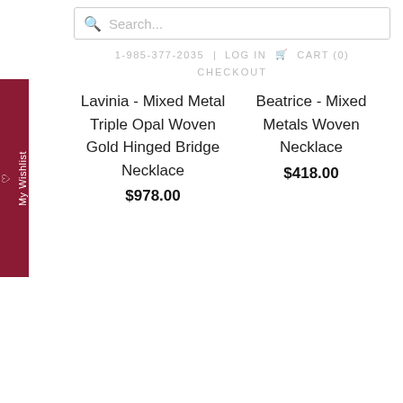Search...
1-985-377-2035  LOG IN  CART (0)  CHECKOUT
My Wishlist
Lavinia - Mixed Metal Triple Opal Woven Gold Hinged Bridge Necklace
$978.00
Beatrice - Mixed Metals Woven Necklace
$418.00